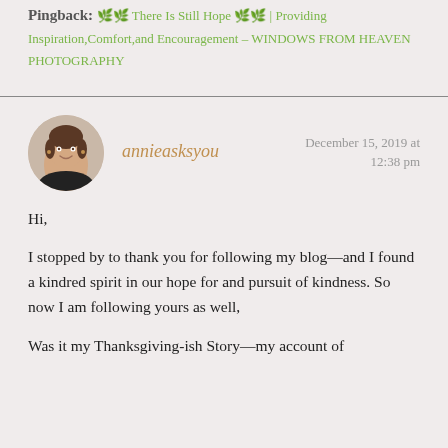Pingback: 🌿🌿 There Is Still Hope 🌿🌿 | Providing Inspiration,Comfort,and Encouragement – WINDOWS FROM HEAVEN PHOTOGRAPHY
[Figure (photo): Circular avatar photo of a woman with short brown hair wearing a black top, smiling, shown from shoulders up.]
annieasksyou
December 15, 2019 at 12:38 pm
Hi,

I stopped by to thank you for following my blog—and I found a kindred spirit in our hope for and pursuit of kindness. So now I am following yours as well,

Was it my Thanksgiving-ish Story—my account of